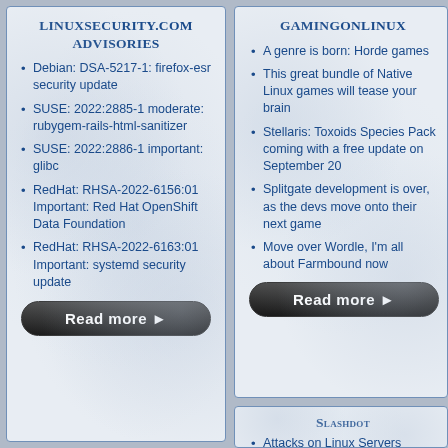LinuxSecurity.com Advisories
Debian: DSA-5217-1: firefox-esr security update
SUSE: 2022:2885-1 moderate: rubygem-rails-html-sanitizer
SUSE: 2022:2886-1 important: glibc
RedHat: RHSA-2022-6156:01 Important: Red Hat OpenShift Data Foundation
RedHat: RHSA-2022-6163:01 Important: systemd security update
GamingOnLinux
A genre is born: Horde games
This great bundle of Native Linux games will tease your brain
Stellaris: Toxoids Species Pack coming with a free update on September 20
Splitgate development is over, as the devs move onto their next game
Move over Wordle, I'm all about Farmbound now
Slashdot
Attacks on Linux Servers